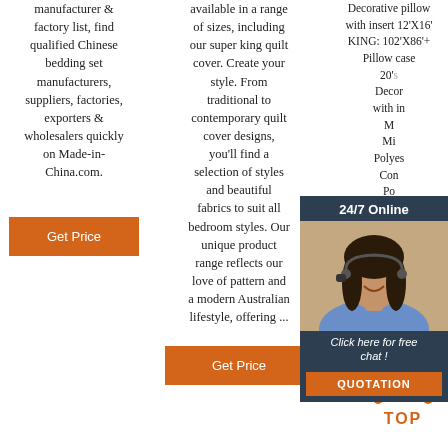manufacturer & factory list, find qualified Chinese bedding set manufacturers, suppliers, factories, exporters & wholesalers quickly on Made-in-China.com.
available in a range of sizes, including our super king quilt cover. Create your style. From traditional to contemporary quilt cover designs, you'll find a selection of styles and beautiful fabrics to suit all bedroom styles. Our unique product range reflects our love of pattern and a modern Australian lifestyle, offering ...
Decorative pillow with insert 12'X16' KING: 102'X86'+ Pillow case 20's Decorative pillow with insert M Mi Polyes Con Po
[Figure (photo): Customer service representative with headset, smiling, with 24/7 Online chat overlay panel from Made-in-China.com]
24/7 Online
Click here for free chat !
QUOTATION
Get Price
Get Price
Get Price
TOP